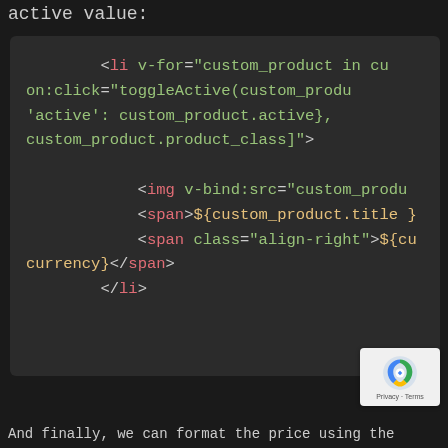active value:
[Figure (screenshot): Dark-themed code editor screenshot showing Vue.js template HTML code with a list item using v-for, on:click, class bindings, img v-bind:src, span elements with template literals for custom_product title and currency, and closing li tag.]
And finally, we can format the price using the